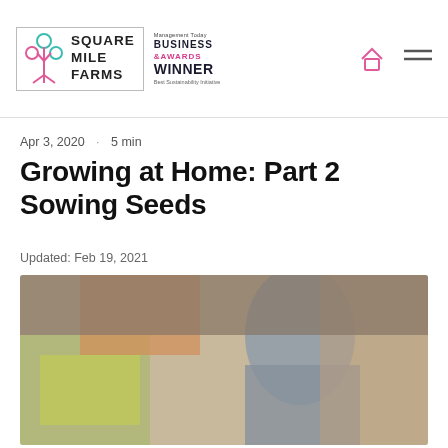Square Mile Farms | Business Awards 2022 Winner – Best Sustainability Initiative
Apr 3, 2020  ·  5 min
Growing at Home: Part 2 Sowing Seeds
Updated: Feb 19, 2021
[Figure (photo): A blurred photograph showing a person working at a table with gardening or growing materials, with green and orange elements visible in the background.]